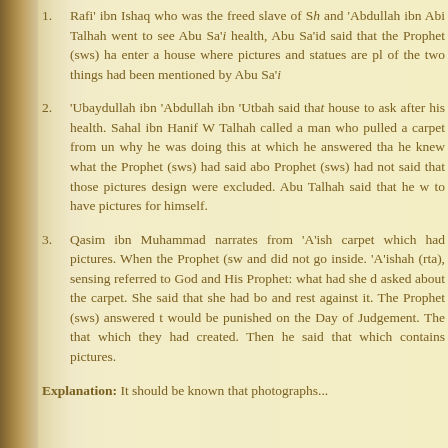1.    Rafi' ibn Ishaq who was the freed slave of S... and 'Abdullah ibn Abi Talhah went to see Abu Sa'... health, Abu Sa'id said that the Prophet (sws) ha... enter a house where pictures and statues are pl... of the two things had been mentioned by Abu Sa'...
2.    'Ubaydullah ibn 'Abdullah ibn 'Utbah said tha... house to ask after his health. Sahal ibn Hanif W... Talhah called a man who pulled a carpet from un... why he was doing this at which he answered tha... he knew what the Prophet (sws) had said abo... Prophet (sws) had not said that those pictures ... design were excluded. Abu Talhah said that he w... to have pictures for himself.
3.    Qasim ibn Muhammad narrates from 'A'ish... carpet which had pictures. When the Prophet (sw... and did not go inside. 'A'ishah (rta), sensing ... referred to God and His Prophet: what had she d... asked about the carpet. She said that she had bo... and rest against it. The Prophet (sws) answered t... would be punished on the Day of Judgement. Th... that which they had created. Then he said that ... which contains pictures.
Explanation: It should be known that photographs...